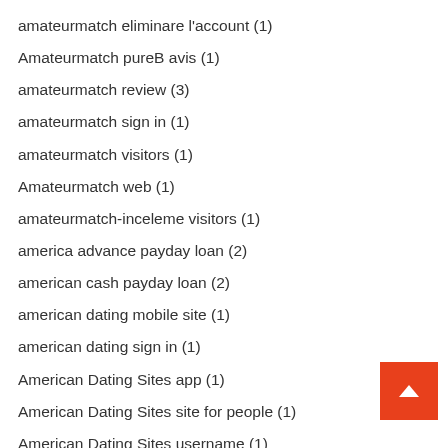amateurmatch eliminare l'account (1)
Amateurmatch pureB avis (1)
amateurmatch review (3)
amateurmatch sign in (1)
amateurmatch visitors (1)
Amateurmatch web (1)
amateurmatch-inceleme visitors (1)
america advance payday loan (2)
american cash payday loan (2)
american dating mobile site (1)
american dating sign in (1)
American Dating Sites app (1)
American Dating Sites site for people (1)
American Dating Sites username (1)